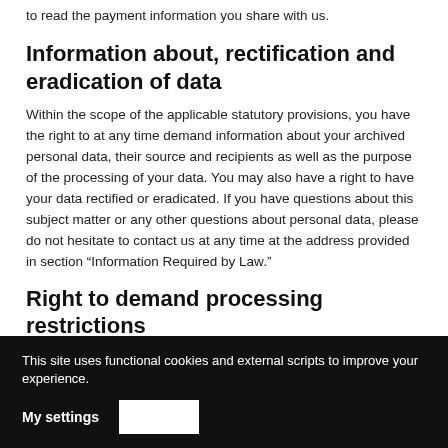to read the payment information you share with us.
Information about, rectification and eradication of data
Within the scope of the applicable statutory provisions, you have the right to at any time demand information about your archived personal data, their source and recipients as well as the purpose of the processing of your data. You may also have a right to have your data rectified or eradicated. If you have questions about this subject matter or any other questions about personal data, please do not hesitate to contact us at any time at the address provided in section “Information Required by Law.”
Right to demand processing restrictions
You have the right to demand the imposition of restrictions as far as the processing of your personal data is concerned. To do so, you may
This site uses functional cookies and external scripts to improve your experience.
In the event that you should dispute the correctness of your data